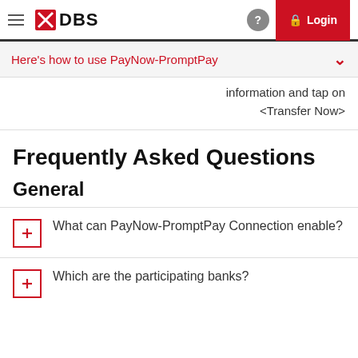DBS — Login
Here's how to use PayNow-PromptPay
information and tap on <Transfer Now>
Frequently Asked Questions
General
What can PayNow-PromptPay Connection enable?
Which are the participating banks?